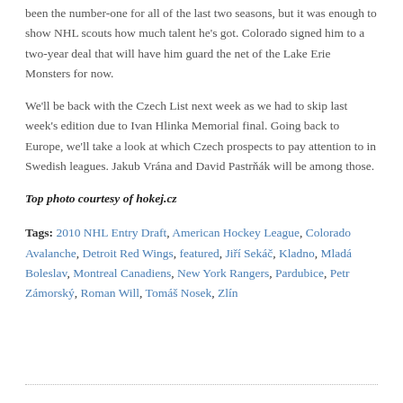been the number-one for all of the last two seasons, but it was enough to show NHL scouts how much talent he's got. Colorado signed him to a two-year deal that will have him guard the net of the Lake Erie Monsters for now.
We'll be back with the Czech List next week as we had to skip last week's edition due to Ivan Hlinka Memorial final. Going back to Europe, we'll take a look at which Czech prospects to pay attention to in Swedish leagues. Jakub Vrána and David Pastrňák will be among those.
Top photo courtesy of hokej.cz
Tags: 2010 NHL Entry Draft, American Hockey League, Colorado Avalanche, Detroit Red Wings, featured, Jiří Sekáč, Kladno, Mladá Boleslav, Montreal Canadiens, New York Rangers, Pardubice, Petr Zámorský, Roman Will, Tomáš Nosek, Zlín